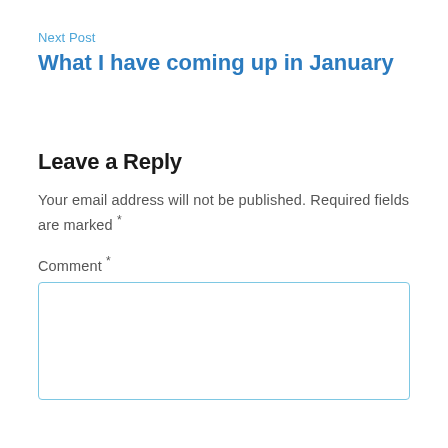Next Post
What I have coming up in January
Leave a Reply
Your email address will not be published. Required fields are marked *
Comment *